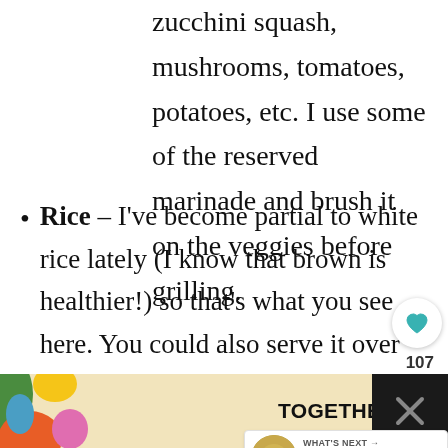zucchini squash, mushrooms, tomatoes, potatoes, etc. I use some of the reserved marinade and brush it on the veggies before grilling.
Rice – I've become partial to white rice lately (I know that brown is healthier!) so that's what you see here. You could also serve it over my Cilantro Lime Rice!
Salad – You also serve the chicken skewers with a salad of your choice. My
[Figure (other): Social media UI overlay: heart/like button with count 107, share button, and WHAT'S NEXT promotional card showing The Best Healthy...]
[Figure (other): Ad banner at bottom: colorful shapes flanking text 'TOGETHER, WE STAND' on a cream background with dark borders]